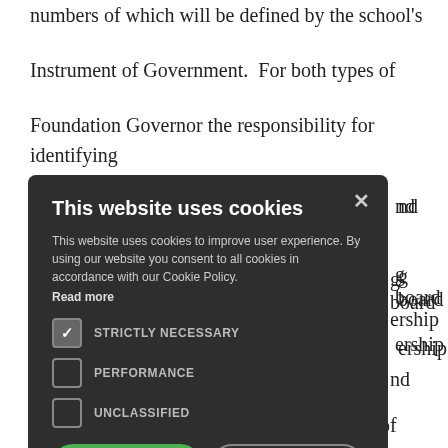numbers of which will be defined by the school's Instrument of Government.  For both types of Foundation Governor the responsibility for identifying
nd
g board
ership
[Figure (screenshot): Cookie consent modal dialog on a dark background with title 'This website uses cookies', body text, checkboxes for STRICTLY NECESSARY (checked), PERFORMANCE, and UNCLASSIFIED, ACCEPT ALL and DECLINE ALL buttons, and a SHOW DETAILS link.]
officio
ple
in a
tations that
the Church and society have of the training of ordained